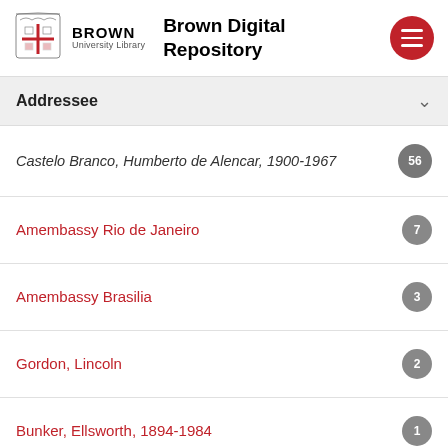Brown University Library — Brown Digital Repository
Addressee
Castelo Branco, Humberto de Alencar, 1900-1967 — 56
Amembassy Rio de Janeiro — 7
Amembassy Brasilia — 3
Gordon, Lincoln — 2
Bunker, Ellsworth, 1894-1984 — 1
Show More...